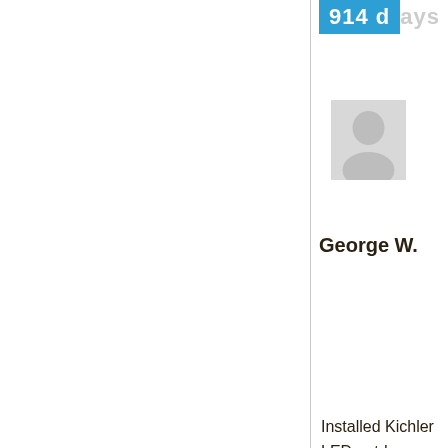914 days
[Figure (illustration): Generic user avatar placeholder icon in gray]
George W.
Installed Kichler LED outdoor lighting at home